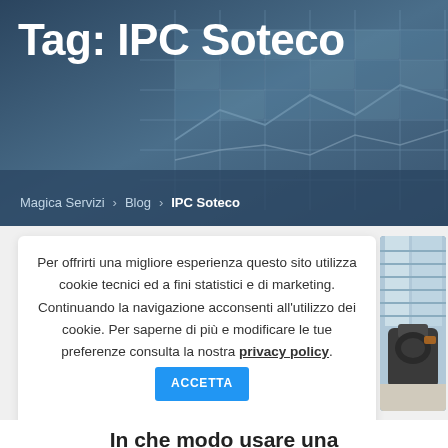Tag: IPC Soteco
Magica Servizi > Blog > IPC Soteco
Per offrirti una migliore esperienza questo sito utilizza cookie tecnici ed a fini statistici e di marketing. Continuando la navigazione acconsenti all'utilizzo dei cookie. Per saperne di più e modificare le tue preferenze consulta la nostra privacy policy. ACCETTA
[Figure (photo): Photo of a cleaning machine or industrial vacuum cleaner device on a surface, with window blinds in background]
In che modo usare una